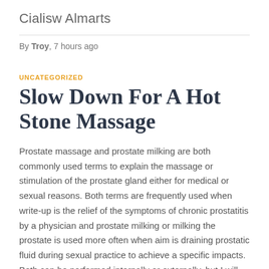Cialisw Almarts
By Troy, 7 hours ago
UNCATEGORIZED
Slow Down For A Hot Stone Massage
Prostate massage and prostate milking are both commonly used terms to explain the massage or stimulation of the prostate gland either for medical or sexual reasons. Both terms are frequently used when write-up is the relief of the symptoms of chronic prostatitis by a physician and prostate milking or milking the prostate is used more often when aim is draining prostatic fluid during sexual practice to achieve a specific impacts. Both can be performed internally or externally, but I will describe the inner technique ideal